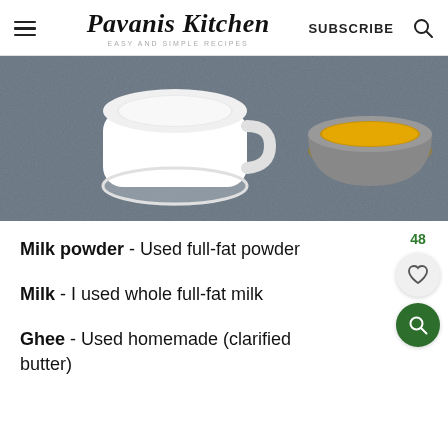Pavanis Kitchen — EASY AND SIMPLE RECIPES — SUBSCRIBE
[Figure (photo): Overhead food photo on dark granite surface: a white ceramic cup filled with milk/cream on the left, and a metal bowl with golden liquid (ghee) on the right.]
Milk powder - Used full-fat powder
Milk - I used whole full-fat milk
Ghee - Used homemade (clarified butter)